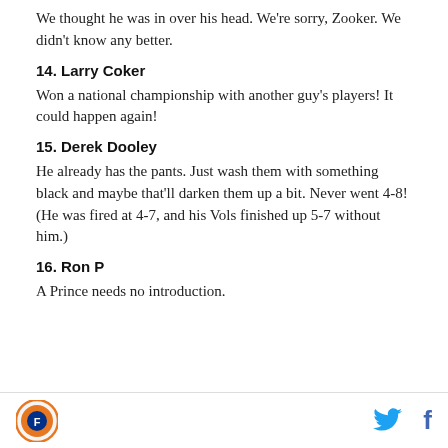We thought he was in over his head. We're sorry, Zooker. We didn't know any better.
14. Larry Coker
Won a national championship with another guy's players! It could happen again!
15. Derek Dooley
He already has the pants. Just wash them with something black and maybe that'll darken them up a bit. Never went 4-8! (He was fired at 4-7, and his Vols finished up 5-7 without him.)
16. Ron P
A Prince needs no introduction.
Logo | Twitter | Facebook